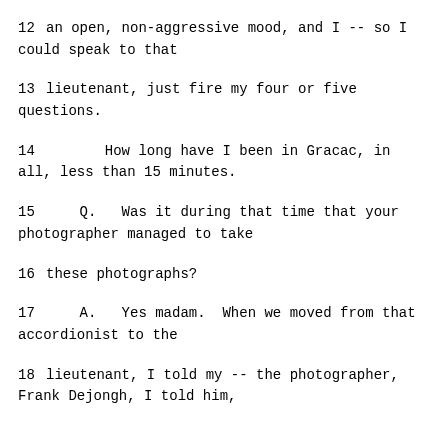12    an open, non-aggressive mood, and I -- so I could speak to that
13    lieutenant, just fire my four or five questions.
14         How long have I been in Gracac, in all, less than 15 minutes.
15      Q.   Was it during that time that your photographer managed to take
16    these photographs?
17      A.   Yes madam.  When we moved from that accordionist to the
18    lieutenant, I told my -- the photographer, Frank Dejongh, I told him,